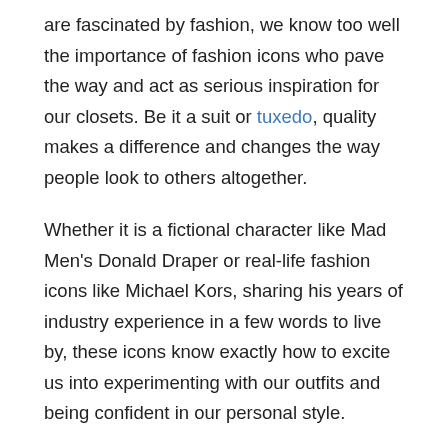are fascinated by fashion, we know too well the importance of fashion icons who pave the way and act as serious inspiration for our closets. Be it a suit or tuxedo, quality makes a difference and changes the way people look to others altogether.
Whether it is a fictional character like Mad Men's Donald Draper or real-life fashion icons like Michael Kors, sharing his years of industry experience in a few words to live by, these icons know exactly how to excite us into experimenting with our outfits and being confident in our personal style.
That being said, it's only right we share some of our favorite fashion quotes, which give us all the inspiration we need to master the catwalk of life.